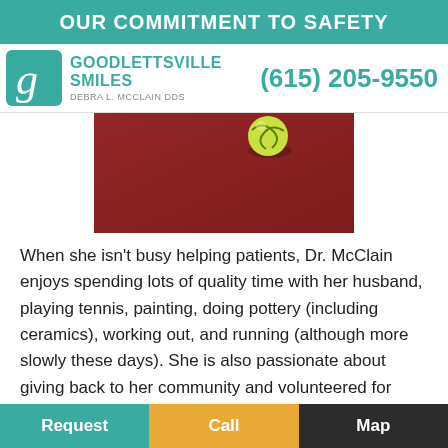OUR COMMITMENT TO SAFETY
[Figure (logo): Goodlettsville Smiles logo with teal 'g' icon, text 'GOODLETTSVILLE SMILES DEBRA L. MCCLAIN DDS' and phone number '(615) 205-9550']
[Figure (photo): A tennis ball resting on a dark red/maroon tennis court surface, photographed from a low angle]
When she isn't busy helping patients, Dr. McClain enjoys spending lots of quality time with her husband, playing tennis, painting, doing pottery (including ceramics), working out, and running (although more slowly these days). She is also passionate about giving back to her community and volunteered for several organizations that bring aid to Tennessee's
Request   Call   Map